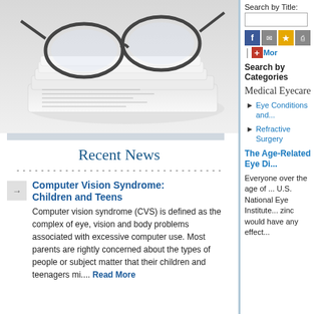[Figure (photo): Black and white photo of eyeglasses resting on folded newspapers]
Recent News
-------------------------------------------
Computer Vision Syndrome: Children and Teens
Computer vision syndrome (CVS) is defined as the complex of eye, vision and body problems associated with excessive computer use. Most parents are rightly concerned about the types of people or subject matter that their children and teenagers mi.... Read More
Search by Title:
[Figure (screenshot): Social sharing icons: Facebook, email, star/bookmark, print, and More button]
Search by Categories
Medical Eyecare
Eye Conditions and...
Refractive Surgery
The Age-Related Eye Di...
Everyone over the age of ... U.S. National Eye Institute... zinc would have any effect...